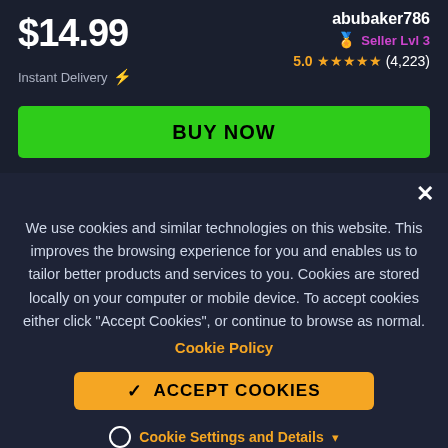$14.99
Instant Delivery ⚡
abubaker786
🏅 Seller Lvl 3
5.0 ★★★★★ (4,223)
BUY NOW
We use cookies and similar technologies on this website. This improves the browsing experience for you and enables us to tailor better products and services to you. Cookies are stored locally on your computer or mobile device. To accept cookies either click "Accept Cookies", or continue to browse as normal.
Cookie Policy
✓ ACCEPT COOKIES
Cookie Settings and Details ▾